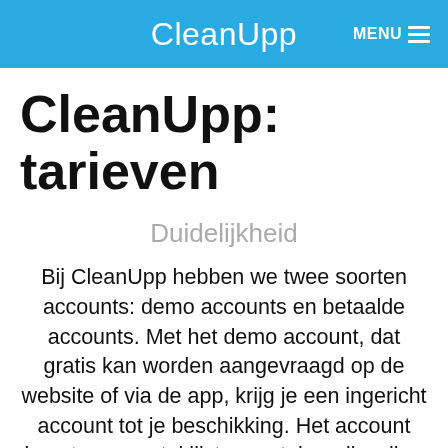CleanUpp  MENU ≡
CleanUpp: tarieven
Duidelijkheid
Bij CleanUpp hebben we twee soorten accounts: demo accounts en betaalde accounts. Met het demo account, dat gratis kan worden aangevraagd op de website of via de app, krijg je een ingericht account tot je beschikking. Het account bevat een aantal lijsten en taken die wij er als voorbeeld in zetten. Via de website kan je zelf dit demo account aanpassen en inrichten naar eigen wens. Het account is een maand